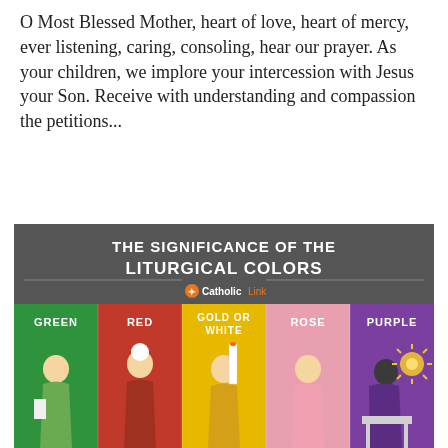O Most Blessed Mother, heart of love, heart of mercy, ever listening, caring, consoling, hear our prayer. As your children, we implore your intercession with Jesus your Son. Receive with understanding and compassion the petitions...
[Figure (infographic): Infographic titled 'The Significance of the Liturgical Colors' by Catholic Link. Shows five colored panels: GREEN, RED, GOLD OR WHITE, ROSE, PURPLE, each with an illustrated figure representing that liturgical color.]